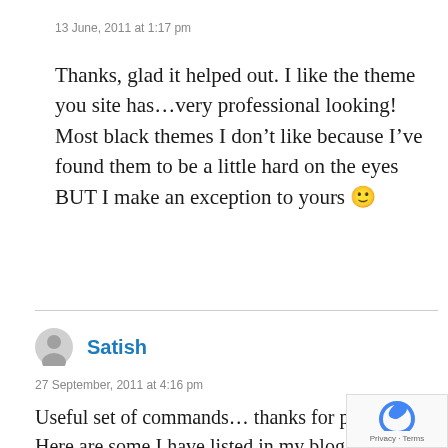13 June, 2011 at 1:17 pm
Thanks, glad it helped out. I like the theme you site has…very professional looking! Most black themes I don't like because I've found them to be a little hard on the eyes BUT I make an exception to yours 🙂
Satish
27 September, 2011 at 4:16 pm
Useful set of commands… thanks for posting . Here are some I have listed in my blog http://tuxthink.blogspot.com/search/l/Commands